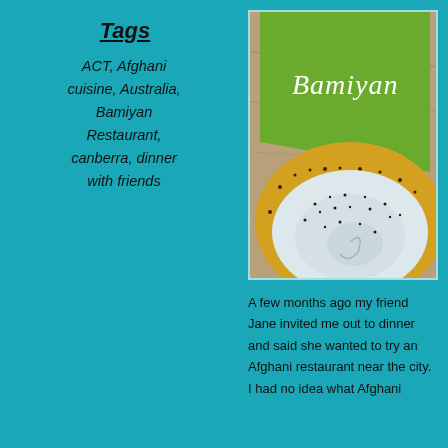Tags
ACT, Afghani cuisine, Australia, Bamiyan Restaurant, canberra, dinner with friends
[Figure (photo): A green Bamiyan restaurant menu book overlaid with a yellow-rimmed white ceramic bowl speckled with black dots, photographed from above on a wooden table.]
A few months ago my friend Jane invited me out to dinner and said she wanted to try an Afghani restaurant near the city.  I had no idea what Afghani